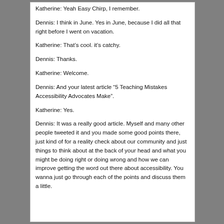Katherine: Yeah Easy Chirp, I remember.
Dennis: I think in June. Yes in June, because I did all that right before I went on vacation.
Katherine: That's cool. it's catchy.
Dennis: Thanks.
Katherine: Welcome.
Dennis: And your latest article “5 Teaching Mistakes Accessibility Advocates Make”.
Katherine: Yes.
Dennis: It was a really good article. Myself and many other people tweeted it and you made some good points there, just kind of for a reality check about our community and just things to think about at the back of your head and what you might be doing right or doing wrong and how we can improve getting the word out there about accessibility. You wanna just go through each of the points and discuss them a little.